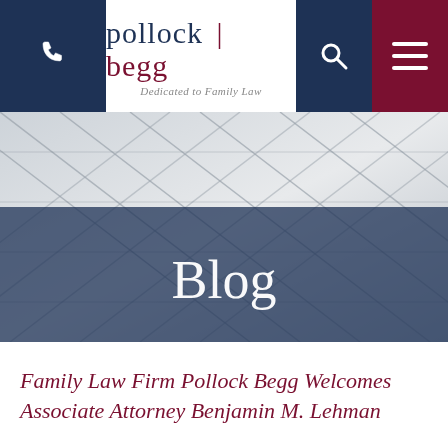pollock | begg — Dedicated to Family Law
[Figure (photo): Abstract architectural photo of glass window panes with diagonal grid lines, in grey tones, used as hero background image]
Blog
Family Law Firm Pollock Begg Welcomes Associate Attorney Benjamin M. Lehman